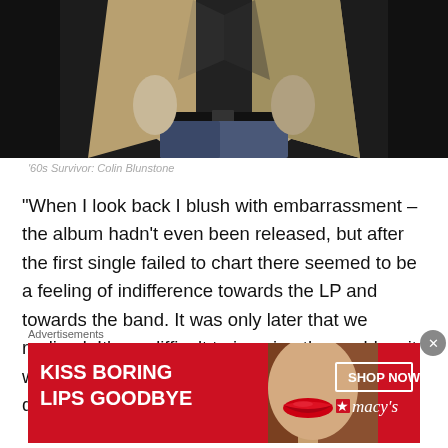[Figure (photo): Photo of Colin Blunstone from torso down, wearing a beige/tan blazer over dark shirt, black belt, and blue jeans, against a dark background]
'60s Survivor: Colin Blunstone
“When I look back I blush with embarrassment – the album hadn't even been released, but after the first single failed to chart there seemed to be a feeling of indifference towards the LP and towards the band. It was only later that we realized. It’s so difficult to imagine the world as it was then in that pre-internet age, but it was very difficult to find
Advertisements
[Figure (photo): Advertisement banner for Macy's: red background with a woman's face showing red lips, text 'KISS BORING LIPS GOODBYE', 'SHOP NOW' button, and Macy's star logo]